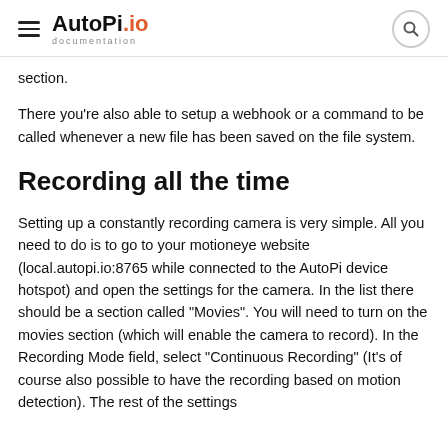AutoPi.io documentation
section.
There you're also able to setup a webhook or a command to be called whenever a new file has been saved on the file system.
Recording all the time
Setting up a constantly recording camera is very simple. All you need to do is to go to your motioneye website (local.autopi.io:8765 while connected to the AutoPi device hotspot) and open the settings for the camera. In the list there should be a section called "Movies". You will need to turn on the movies section (which will enable the camera to record). In the Recording Mode field, select "Continuous Recording" (It's of course also possible to have the recording based on motion detection). The rest of the settings